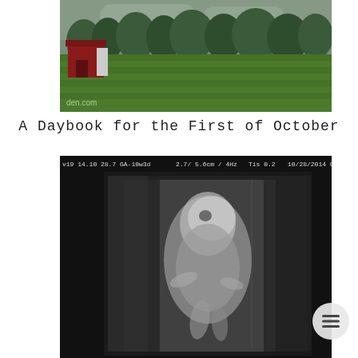[Figure (photo): Photograph of a farm scene with a mowed green lawn, red barn on the left, and trees in the background under an overcast sky. Watermark reads 'den.com' in lower left.]
A Daybook for the First of October
[Figure (photo): Black and white ultrasound image of a fetus. Header reads: v19 14.10 28.7 GA-10w3d  2.7/5.6cm / 4Hz  Tis 0.2  10/28/2014 02]